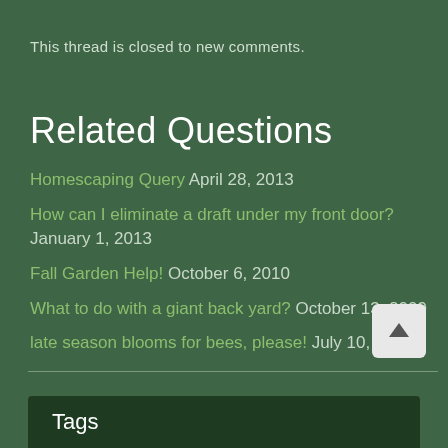This thread is closed to new comments.
Related Questions
Homescaping Query  April 28, 2013
How can I eliminate a draft under my front door?  January 1, 2013
Fall Garden Help!  October 6, 2010
What to do with a giant back yard?  October 13, 2009
late season blooms for bees, please!  July 10, 2007
Tags